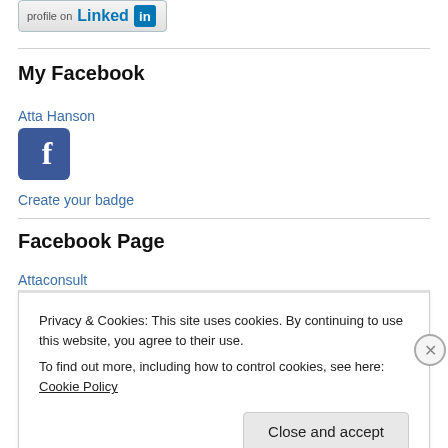[Figure (logo): LinkedIn profile button badge with LinkedIn logo and text]
My Facebook
Atta Hanson
[Figure (logo): Facebook icon — blue square with white f]
Create your badge
Facebook Page
Attaconsult
Privacy & Cookies: This site uses cookies. By continuing to use this website, you agree to their use.
To find out more, including how to control cookies, see here: Cookie Policy
Close and accept